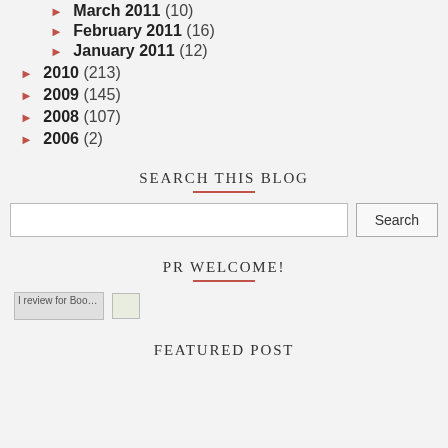► March 2011 (10)
► February 2011 (16)
► January 2011 (12)
► 2010 (213)
► 2009 (145)
► 2008 (107)
► 2006 (2)
SEARCH THIS BLOG
PR WELCOME!
[Figure (other): I review for BookSneeze badge image and a small green image]
FEATURED POST